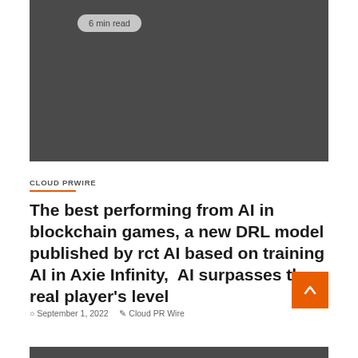[Figure (photo): Dark grey hero image placeholder area with '6 min read' badge in top-left corner]
CLOUD PRWIRE
The best performing from AI in blockchain games, a new DRL model published by rct AI based on training AI in Axie Infinity,  AI surpasses the real player's level
September 1, 2022  Cloud PR Wire